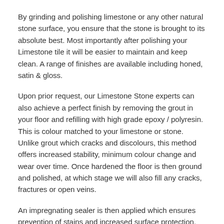By grinding and polishing limestone or any other natural stone surface, you ensure that the stone is brought to its absolute best. Most importantly after polishing your Limestone tile it will be easier to maintain and keep clean. A range of finishes are available including honed, satin & gloss.
Upon prior request, our Limestone Stone experts can also achieve a perfect finish by removing the grout in your floor and refilling with high grade epoxy / polyresin. This is colour matched to your limestone or stone. Unlike grout which cracks and discolours, this method offers increased stability, minimum colour change and wear over time. Once hardened the floor is then ground and polished, at which stage we will also fill any cracks, fractures or open veins.
An impregnating sealer is then applied which ensures prevention of stains and increased surface protection. This method creates a seamless limestone or stone effect that can help create a timeless aesthetic that will only enhance the beauty and worth of your interior or exterior residential or commercial space.
Limestone Repair Experts